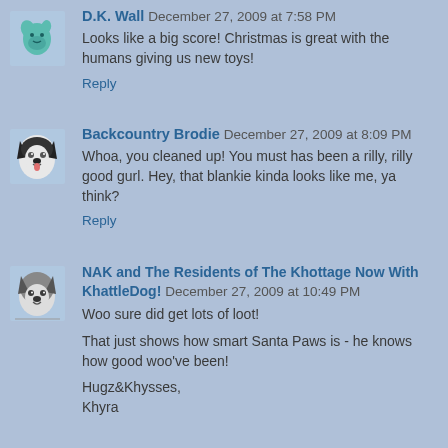D.K. Wall December 27, 2009 at 7:58 PM
Looks like a big score! Christmas is great with the humans giving us new toys!
Reply
Backcountry Brodie December 27, 2009 at 8:09 PM
Whoa, you cleaned up! You must has been a rilly, rilly good gurl. Hey, that blankie kinda looks like me, ya think?
Reply
NAK and The Residents of The Khottage Now With KhattleDog! December 27, 2009 at 10:49 PM
Woo sure did get lots of loot!
That just shows how smart Santa Paws is - he knows how good woo've been!
Hugz&Khysses,
Khyra